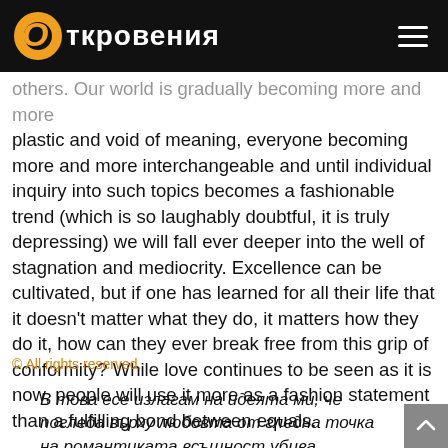Откровения
others. Our world is gradually becoming more and more plastic and void of meaning, everyone becoming more and more interchangeable and until individual inquiry into such topics becomes a fashionable trend (which is so laughably doubtful, it is truly depressing) we will fall ever deeper into the well of stagnation and mediocrity. Excellence can be cultivated, but if one has learned for all their life that it doesn't matter what they do, it matters how they do it, how can they ever break free from this grip of conformity? While love continues to be seen as it is now, people will use it more as a fashion statement than a fulfilling bond between equals.
© All rights reserved.
В това есе излагам на идеята ми, че погледа върху любовта от гледна точка на романтиката всъщност убива есенцията на любовта заради илюзорната природа на романтичните представи за човека, към когото тази